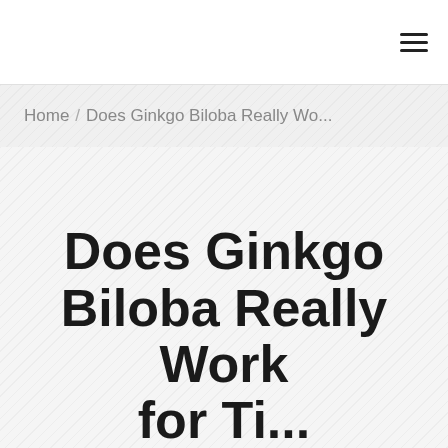≡
Home / Does Ginkgo Biloba Really Wo...
Does Ginkgo Biloba Really Work for Tinnitus? Find...